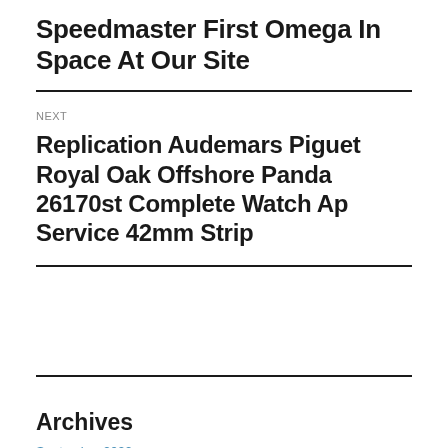Speedmaster First Omega In Space At Our Site
NEXT
Replication Audemars Piguet Royal Oak Offshore Panda 26170st Complete Watch Ap Service 42mm Strip
Archives
September 2022